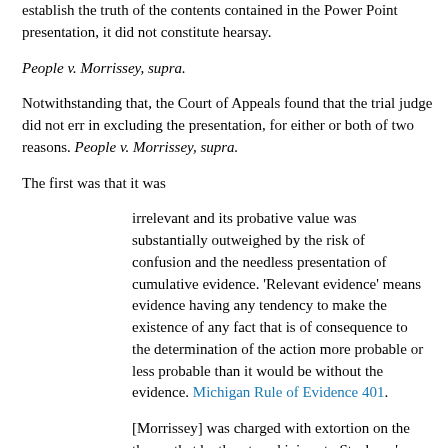establish the truth of the contents contained in the Power Point presentation, it did not constitute hearsay.
People v. Morrissey, supra.
Notwithstanding that, the Court of Appeals found that the trial judge did not err in excluding the presentation, for either or both of two reasons. People v. Morrissey, supra.
The first was that it was
irrelevant and its probative value was substantially outweighed by the risk of confusion and the needless presentation of cumulative evidence. 'Relevant evidence' means evidence having any tendency to make the existence of any fact that is of consequence to the determination of the action more probable or less probable than it would be without the evidence. Michigan Rule of Evidence 401.
[Morrissey] was charged with extortion on the theory that he threatened injury to Steelcase's